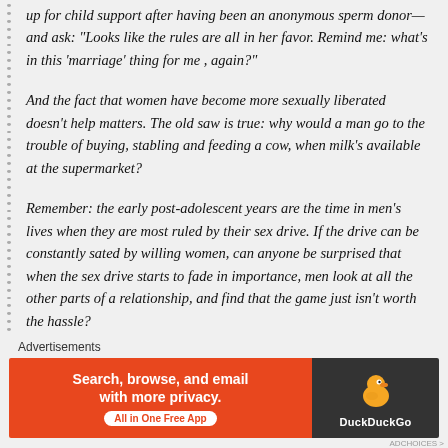up for child support after having been an anonymous sperm donor—and ask: "Looks like the rules are all in her favor. Remind me: what's in this 'marriage' thing for me , again?"
And the fact that women have become more sexually liberated doesn't help matters. The old saw is true: why would a man go to the trouble of buying, stabling and feeding a cow, when milk's available at the supermarket?
Remember: the early post-adolescent years are the time in men's lives when they are most ruled by their sex drive. If the drive can be constantly sated by willing women, can anyone be surprised that when the sex drive starts to fade in importance, men look at all the other parts of a relationship, and find that the game just isn't worth the hassle?
Advertisements
[Figure (other): DuckDuckGo advertisement banner: orange left panel with text 'Search, browse, and email with more privacy. All in One Free App', dark right panel with DuckDuckGo duck logo and 'DuckDuckGo' text.]